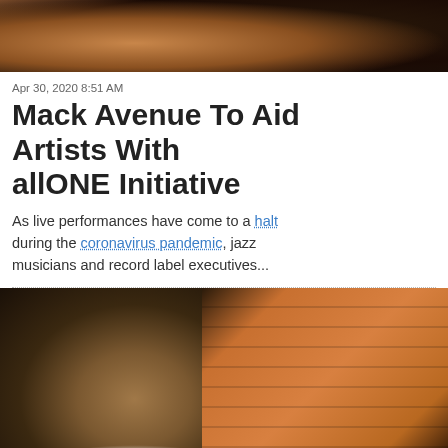[Figure (photo): Top portion of a photo showing a musician with a bass/cello instrument]
Apr 30, 2020 8:51 AM
Mack Avenue To Aid Artists With allONE Initiative
As live performances have come to a halt during the coronavirus pandemic, jazz musicians and record label executives...
[Figure (photo): Photo of a smiling Black man alongside a drum instrument on a black background]